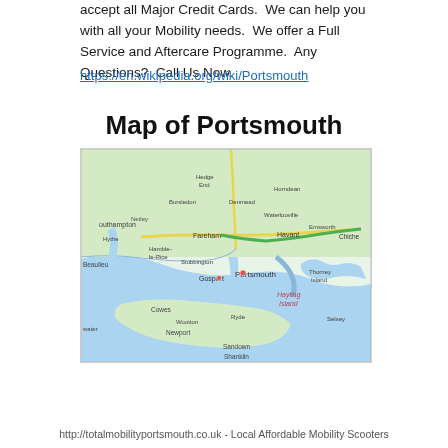accept all Major Credit Cards.  We can help you with all your Mobility needs.  We offer a Full Service and Aftercare Programme.  Any Questions?  Call Us Now.
https://en.wikipedia.org/wiki/Portsmouth
Map of Portsmouth
[Figure (map): OpenStreetMap-style map showing Portsmouth and surrounding area including Southampton, Fareham, Gosport, Havant, Isle of Wight, and the Solent waterway.]
http://totalmobilityportsmouth.co.uk - Local Affordable Mobility Scooters